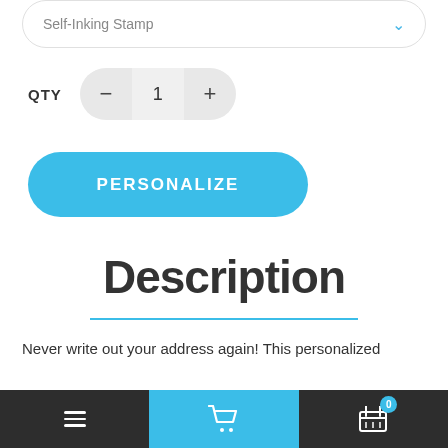Self-Inking Stamp
QTY  1
PERSONALIZE
Description
Never write out your address again! This personalized
≡  [cart icon]  [basket icon] 0